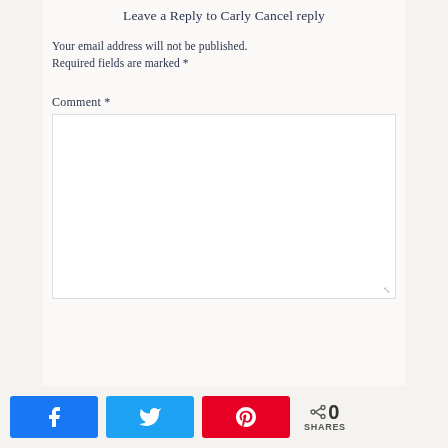Leave a Reply to Carly Cancel reply
Your email address will not be published. Required fields are marked *
Comment *
[Figure (screenshot): Comment text area input box with resize handle]
[Figure (infographic): Social share buttons: Facebook, Twitter, Pinterest, and share count showing 0 SHARES]